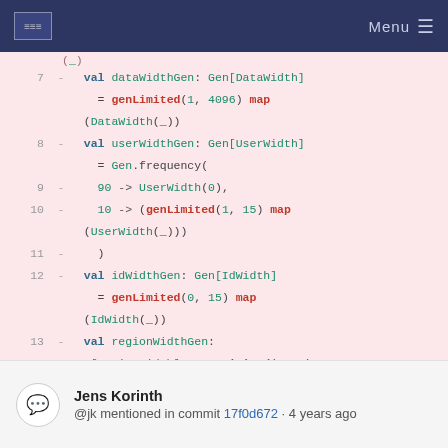Menu
[Figure (screenshot): Code diff block showing Scala code lines 7-14 with red/pink background, displaying generator definitions for dataWidthGen, userWidthGen, idWidthGen, and regionWidthGen using genLimited and Gen.frequency methods.]
Jens Korinth
@jk mentioned in commit 17f0d672 · 4 years ago